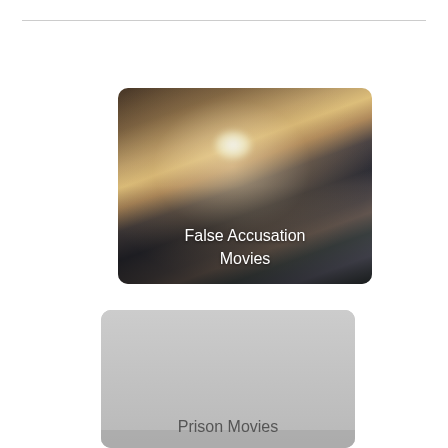[Figure (photo): Card thumbnail showing a crowd/press scene with a man in foreground looking down, labelled 'False Accusation Movies']
[Figure (photo): Card thumbnail with gray placeholder image, labelled 'Prison Movies']